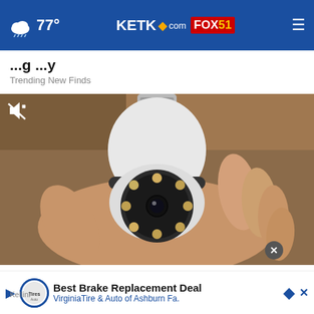77° | KETK.com FOX51
Homeowners Are Trading in Their Doorbell Cams for This
Trending New Finds
[Figure (photo): A hand holding a white bulb-shaped security camera with a circular lens array, shown against a wooden background. A mute icon is visible in the top-left corner of the image.]
Homeowners Are Trading in Their Doorbell Cams for This
Kellini
Best Brake Replacement Deal
VirginiaTire & Auto of Ashburn Fa.